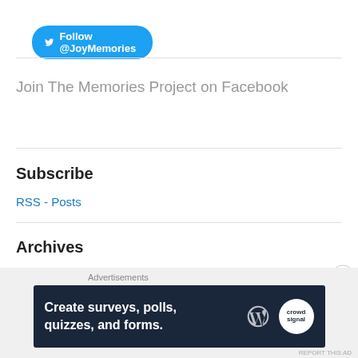[Figure (other): Twitter Follow button with bird icon reading 'Follow @JoyMemories' on a blue rounded pill background]
Join The Memories Project on Facebook
Subscribe
RSS - Posts
Archives
[Figure (other): Select Month dropdown widget]
Advertisements
[Figure (other): Advertisement banner: 'Create surveys, polls, quizzes, and forms.' with WordPress and CrowdSignal logos on dark navy background]